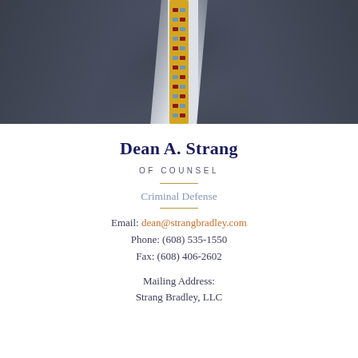[Figure (photo): Professional photo of Dean A. Strang showing upper torso in a dark suit with light blue shirt and gold patterned tie]
Dean A. Strang
OF COUNSEL
Criminal Defense
Email: dean@strangbradley.com
Phone: (608) 535-1550
Fax: (608) 406-2602
Mailing Address:
Strang Bradley, LLC